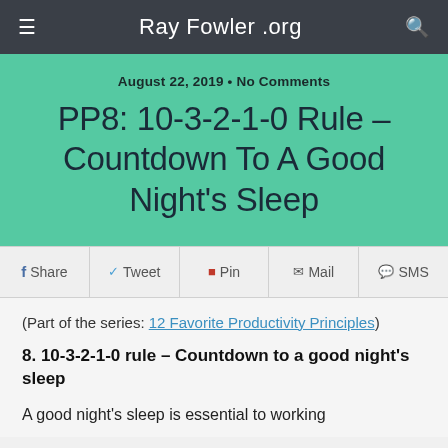Ray Fowler .org
August 22, 2019 • No Comments
PP8: 10-3-2-1-0 Rule – Countdown To A Good Night's Sleep
Share  Tweet  Pin  Mail  SMS
(Part of the series: 12 Favorite Productivity Principles)
8. 10-3-2-1-0 rule – Countdown to a good night's sleep
A good night's sleep is essential to working